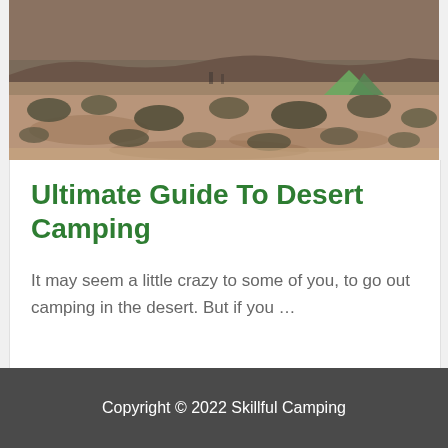[Figure (photo): Desert landscape with scrubby bushes, sandy terrain, and a tent visible in the upper right area. Overcast/dusky sky. People faintly visible in background.]
Ultimate Guide To Desert Camping
It may seem a little crazy to some of you, to go out camping in the desert. But if you …
Copyright © 2022 Skillful Camping